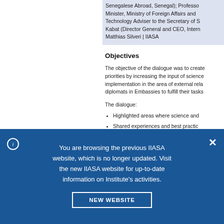Senegalese Abroad, Senegal); Professor... Minister, Ministry of Foreign Affairs and... Technology Adviser to the Secretary of S... Kabat (Director General and CEO, Intern... Matthias Silveri | IIASA
Objectives
The objective of the dialogue was to create... priorities by increasing the input of science... implementation in the area of external rela... diplomats in Embassies to fulfill their tasks...
The dialogue:
Highlighted areas where science and...
Shared experiences and best practice...
You are browsing the previous IIASA website, which is no longer updated. Visit the new IIASA website for up-to-date information on Institute's activities.
NEW WEBSITE